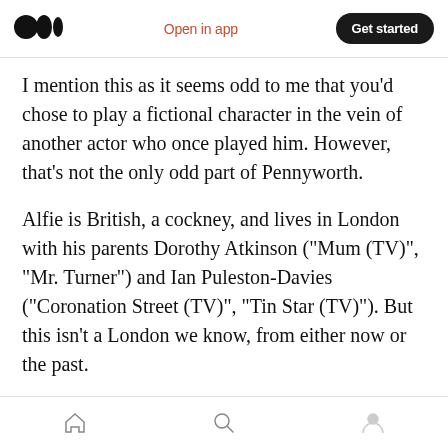Open in app | Get started
I mention this as it seems odd to me that you’d chose to play a fictional character in the vein of another actor who once played him. However, that’s not the only odd part of Pennyworth.
Alfie is British, a cockney, and lives in London with his parents Dorothy Atkinson (“Mum (TV)”, “Mr. Turner”) and Ian Puleston-Davies (“Coronation Street (TV)”, “Tin Star (TV)”). But this isn’t a London we know, from either now or the past.
It’s an odd version, blimps are in the sky, the ci is
Home | Search | Profile